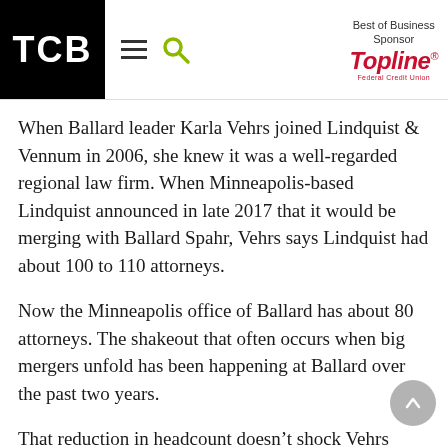TCB | Best of Business Sponsor: TopLine Federal Credit Union
When Ballard leader Karla Vehrs joined Lindquist & Vennum in 2006, she knew it was a well-regarded regional law firm. When Minneapolis-based Lindquist announced in late 2017 that it would be merging with Ballard Spahr, Vehrs says Lindquist had about 100 to 110 attorneys.
Now the Minneapolis office of Ballard has about 80 attorneys. The shakeout that often occurs when big mergers unfold has been happening at Ballard over the past two years.
That reduction in headcount doesn’t shock Vehrs